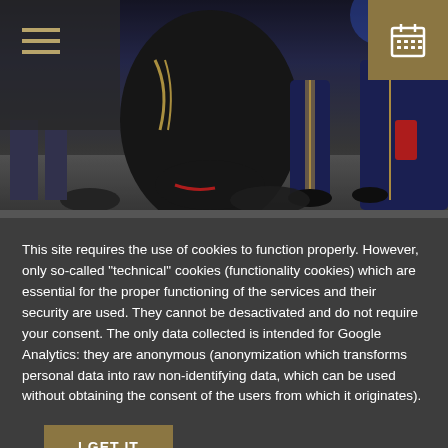[Figure (photo): Military musicians/band members in dark uniforms with gold trim, kneeling or standing with instrument cases, photographed from behind/side at a formal event or ceremony. Dark indoor setting.]
This site requires the use of cookies to function properly. However, only so-called "technical" cookies (functionality cookies) which are essential for the proper functioning of the services and their security are used. They cannot be desactivated and do not require your consent. The only data collected is intended for Google Analytics: they are anonymous (anonymization which transforms personal data into raw non-identifying data, which can be used without obtaining the consent of the users from which it originates).
I GET IT